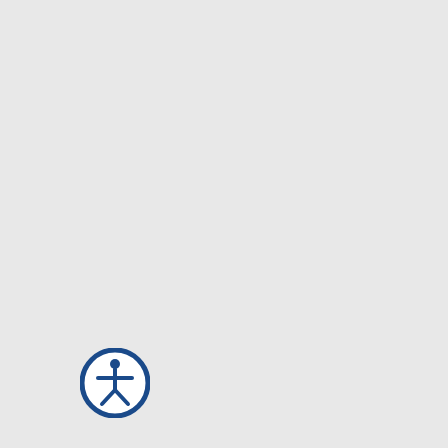your computer's hard drive, and that the Web Site creates.
(c) Information Use: We use information to get a better general understanding of the Web Site; to respond to your requests and questions; to improve your experience; aggregated site-visitation statistics; enhancements, special offers, updates, and services from us. We also use information for renewal discounts, to automatically notify you of upcoming service offerings.
We may disclose information to rent our lists to commercial or charitable organizations; purposes is limited to your name, addresses, and fax numbers, and web site addresses to have such information disclosed. To enable us to process your request, address. Once properly notified, we will remove you from lists and disclosures as soon as reasonably possible under normal business practices.
When you order products or services, card number and billing address to charge you for the products or services for that purpose. Annual subscriptions Subscription and renew automatically in writing thirty days in advance.
[Figure (illustration): Accessibility icon - circular blue border with white human figure inside, indicating accessibility features]